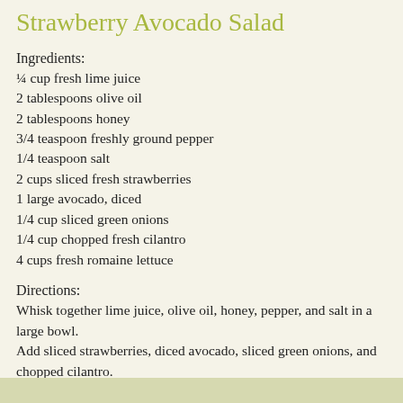Strawberry Avocado Salad
Ingredients:
¼ cup fresh lime juice
2 tablespoons olive oil
2 tablespoons honey
3/4 teaspoon freshly ground pepper
1/4 teaspoon salt
2 cups sliced fresh strawberries
1 large avocado, diced
1/4 cup sliced green onions
1/4 cup chopped fresh cilantro
4 cups fresh romaine lettuce
Directions:
Whisk together lime juice, olive oil, honey, pepper, and salt in a large bowl.
Add sliced strawberries, diced avocado, sliced green onions, and chopped cilantro.
Toss to coat, and serve over romaine lettuce.